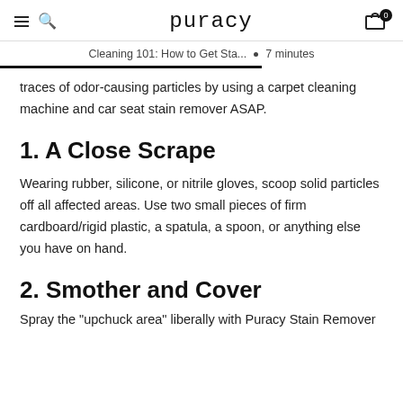puracy | Cleaning 101: How to Get Sta... • 7 minutes
traces of odor-causing particles by using a carpet cleaning machine and car seat stain remover ASAP.
1. A Close Scrape
Wearing rubber, silicone, or nitrile gloves, scoop solid particles off all affected areas. Use two small pieces of firm cardboard/rigid plastic, a spatula, a spoon, or anything else you have on hand.
2. Smother and Cover
Spray the "upchuck area" liberally with Puracy Stain Remover